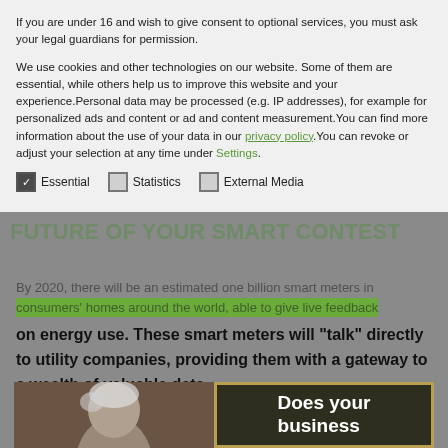If you are under 16 and wish to give consent to optional services, you must ask your legal guardians for permission.
We use cookies and other technologies on our website. Some of them are essential, while others help us to improve this website and your experience. Personal data may be processed (e.g. IP addresses), for example for personalized ads and content or ad and content measurement. You can find more information about the use of your data in our privacy policy. You can revoke or adjust your selection at any time under Settings.
Essential
Statistics
External Media
By 2020, there will be an estimated one billion smart meters in consumers' homes around the world, able to give live feedback on energy use. These smart meters will “talk” directly to utility companies, providing them with a gateway to a wealth of valuable data.
[Figure (photo): Person with snowy/white hair next to a chalkboard sign reading 'Does your business']